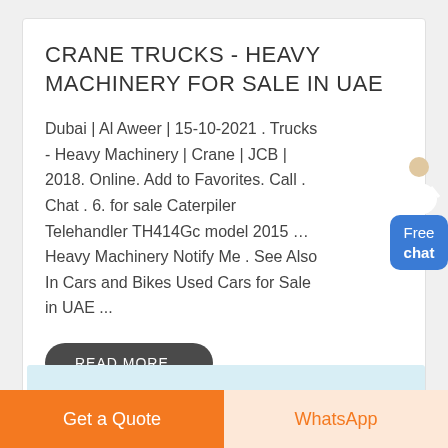CRANE TRUCKS - HEAVY MACHINERY FOR SALE IN UAE
Dubai | Al Aweer | 15-10-2021 . Trucks - Heavy Machinery | Crane | JCB | 2018. Online. Add to Favorites. Call . Chat . 6. for sale Caterpiler Telehandler TH414Gc model 2015 … Heavy Machinery Notify Me . See Also In Cars and Bikes Used Cars for Sale in UAE ...
READ MORE...
[Figure (photo): Landscape photo showing mountains/hills against a light sky]
Get a Quote
WhatsApp